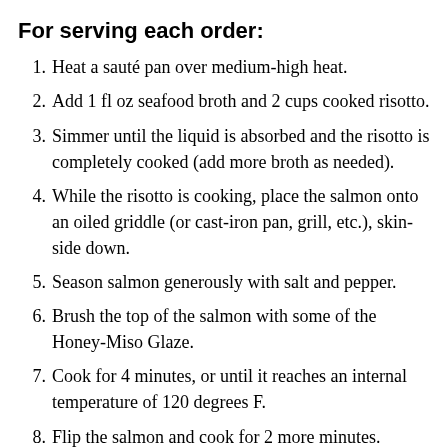For serving each order:
Heat a sauté pan over medium-high heat.
Add 1 fl oz seafood broth and 2 cups cooked risotto.
Simmer until the liquid is absorbed and the risotto is completely cooked (add more broth as needed).
While the risotto is cooking, place the salmon onto an oiled griddle (or cast-iron pan, grill, etc.), skin-side down.
Season salmon generously with salt and pepper.
Brush the top of the salmon with some of the Honey-Miso Glaze.
Cook for 4 minutes, or until it reaches an internal temperature of 120 degrees F.
Flip the salmon and cook for 2 more minutes.
In the meantime, add the cooked risotto to a plate. Place